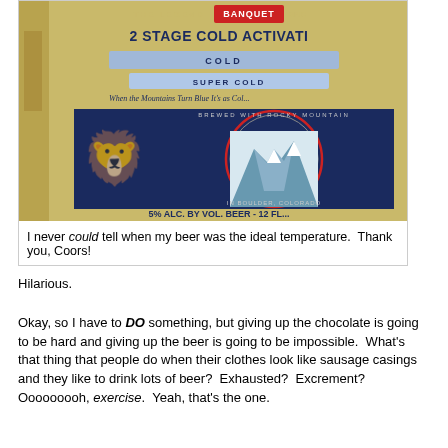[Figure (photo): Close-up photo of a Coors Banquet beer can showing the '2 Stage Cold Activation' label with 'COLD' and 'SUPER COLD' temperature indicators, a mountain landscape medallion, lion heraldry, and text '5% ALC. BY VOL. BEER - 12 FL...']
I never could tell when my beer was the ideal temperature.  Thank you, Coors!
Hilarious.
Okay, so I have to DO something, but giving up the chocolate is going to be hard and giving up the beer is going to be impossible.  What's that thing that people do when their clothes look like sausage casings and they like to drink lots of beer?  Exhausted?  Excrement?  Ooooooooh, exercise.  Yeah, that's the one.